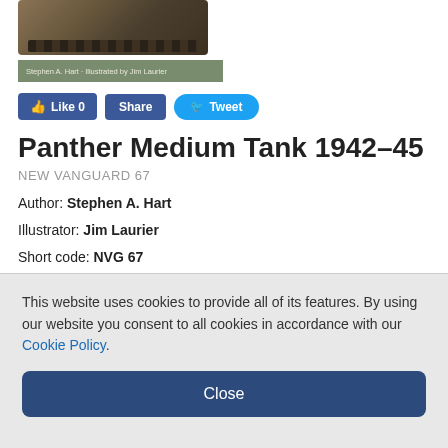[Figure (photo): Partial image of a tank (treads/tracks visible) from a book cover]
Stephen A. Hart · Illustrated by Jim Laurier
Like 0  Share  Tweet
Panther Medium Tank 1942–45
NEW VANGUARD 67
Author: Stephen A. Hart
Illustrator: Jim Laurier
Short code: NVG 67
Publication Date: 19 Feb 2003
Number of Pages: 48
Users in the USA and Canada please select your location at the top of this page to see prices in your currency. Users in the UK and the Rest of the World will be billed in GBP.
Availability: In stock
This website uses cookies to provide all of its features. By using our website you consent to all cookies in accordance with our Cookie Policy.
Close